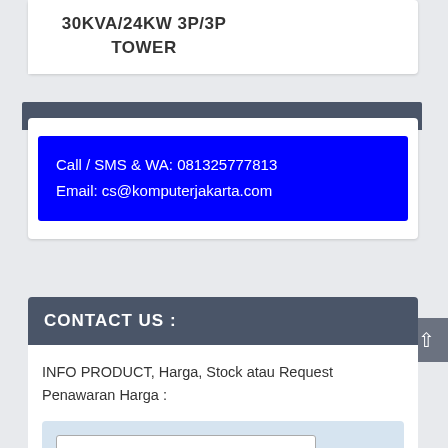30KVA/24KW 3P/3P TOWER
Call / SMS & WA: 081325777813
Email: cs@komputerjakarta.com
CONTACT US :
INFO PRODUCT, Harga, Stock atau Request Penawaran Harga :
Isikan Nama Anda*